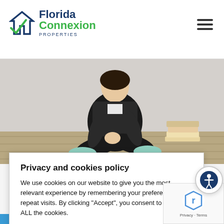Florida Connexion Properties
[Figure (photo): Person sitting cross-legged on a wooden floor with a stack of books beside them]
Privacy and cookies policy
We use cookies on our website to give you the most relevant experience by remembering your preferences and repeat visits. By clicking "Accept", you consent to the use of ALL the cookies.
Do not sell my personal information.
Cookie settings  ACCEPT
la
...oking to do
...nigh quality
...ther
...has a diverse
READ MORE